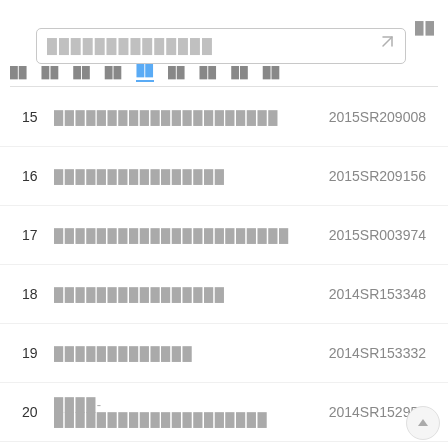Search bar with placeholder text and send icon, top-right menu icon
Tab navigation: 首页 公告 法规 标准 专利 论文 成果 项目 (active: 专利)
15 ████████████████ 2015SR209008
16 ████████████ 2015SR209156
17 █████████████████ 2015SR003974
18 ████████████ 2014SR153348
19 █████████ 2014SR153332
20 ███-███████████████ 2014SR152954
21 █████████████ 2014SR152951
22 ████████████████████████ 2014SR062700
23 ████████████████████████ 2014SR031383
24 █████████████████████ 2013SR160045